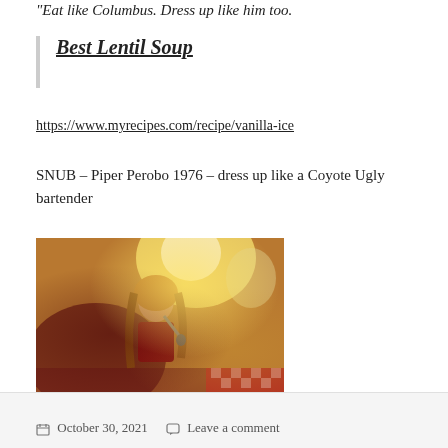"Eat like Columbus. Dress up like him too.
Best Lentil Soup
https://www.myrecipes.com/recipe/vanilla-ice
SNUB – Piper Perobo 1976 – dress up like a Coyote Ugly bartender
[Figure (photo): A woman with long hair performing on stage, holding a microphone, with warm colorful lighting and decorative background]
October 30, 2021   Leave a comment